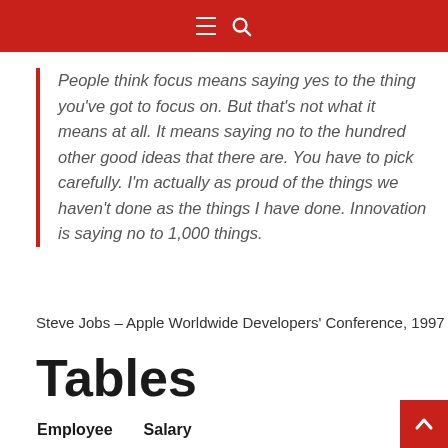≡ 🔍
People think focus means saying yes to the thing you've got to focus on. But that's not what it means at all. It means saying no to the hundred other good ideas that there are. You have to pick carefully. I'm actually as proud of the things we haven't done as the things I have done. Innovation is saying no to 1,000 things.
Steve Jobs – Apple Worldwide Developers' Conference, 1997
Tables
| Employee | Salary |
| --- | --- |